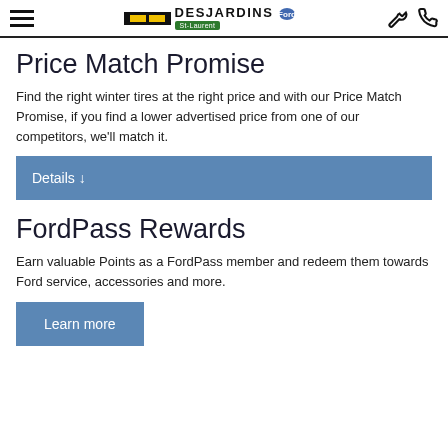Desjardins Ford St-Laurent — navigation header
Price Match Promise
Find the right winter tires at the right price and with our Price Match Promise, if you find a lower advertised price from one of our competitors, we'll match it.
Details ↓
FordPass Rewards
Earn valuable Points as a FordPass member and redeem them towards Ford service, accessories and more.
Learn more